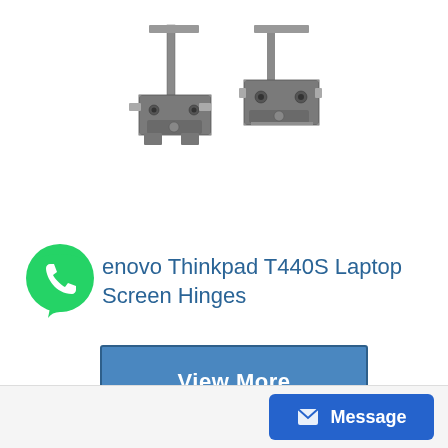[Figure (photo): Two laptop screen hinges for Lenovo Thinkpad T440S, metal hardware components shown on white background]
Lenovo Thinkpad T440S Laptop Screen Hinges
View More
Message